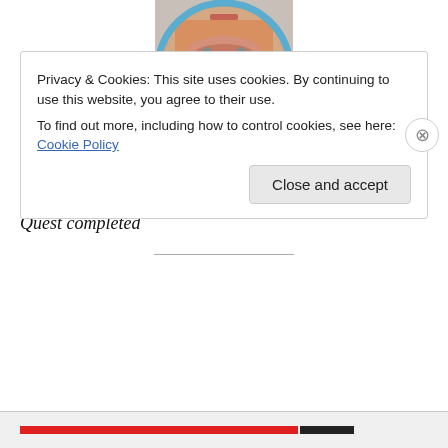[Figure (photo): Circular avatar image showing the lower face of a person, framed in a blue circular border]
Good day! Can I be of some assistance?
Clockmaker? Hmm… Yeah, she lived in my silo for quite some time. But I haven't seen her for a while, probably at least a year.
Quest completed
Privacy & Cookies: This site uses cookies. By continuing to use this website, you agree to their use.
To find out more, including how to control cookies, see here: Cookie Policy